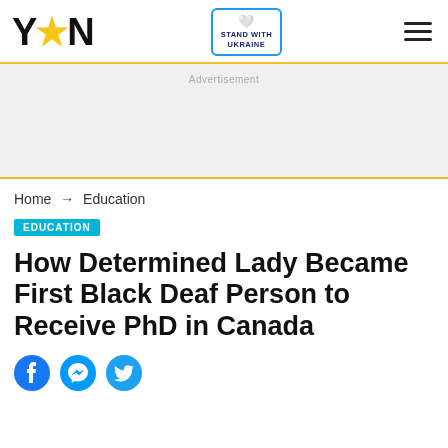YEN — Stand with Ukraine — Menu
Advertisement
Home → Education
EDUCATION
How Determined Lady Became First Black Deaf Person to Receive PhD in Canada
[Figure (other): Social share icons: Facebook, Messenger, Twitter]